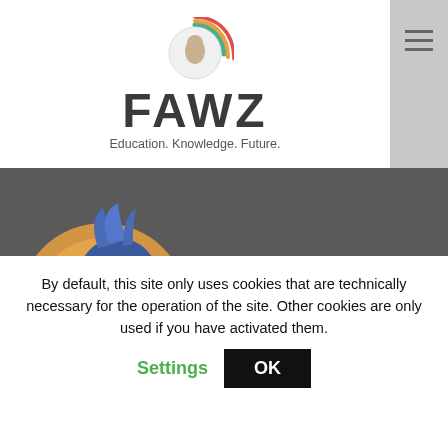[Figure (logo): FAWZ logo with circular icon showing a bird silhouette with colorful arcs (green, orange, red), large bold FAWZ text, and tagline 'Education. Knowledge. Future.']
[Figure (illustration): Cartoon blue parrot/bird mascot with a large yellow beak, big white eye, blue feathers, and yellow feet, set against a glowing orange circle background]
© Fürstenwalder Aus- und Weiterbildungszentrum
By default, this site only uses cookies that are technically necessary for the operation of the site. Other cookies are only used if you have activated them.
Settings
OK